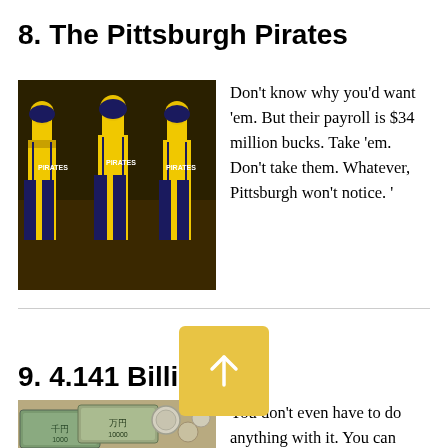8. The Pittsburgh Pirates
[Figure (photo): Pittsburgh Pirates baseball players in yellow uniforms on the field]
Don't know why you'd want 'em. But their payroll is $34 million bucks. Take 'em. Don't take them. Whatever, Pittsburgh won't notice. '
9. 4.141 Billion Yen
[Figure (photo): Japanese yen currency — bills and coins]
You don't even have to do anything with it. You can